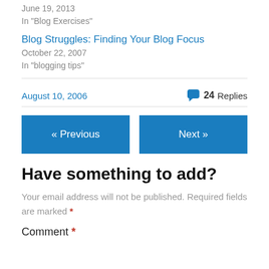June 19, 2013
In "Blog Exercises"
Blog Struggles: Finding Your Blog Focus
October 22, 2007
In "blogging tips"
August 10, 2006
24 Replies
« Previous
Next »
Have something to add?
Your email address will not be published. Required fields are marked *
Comment *